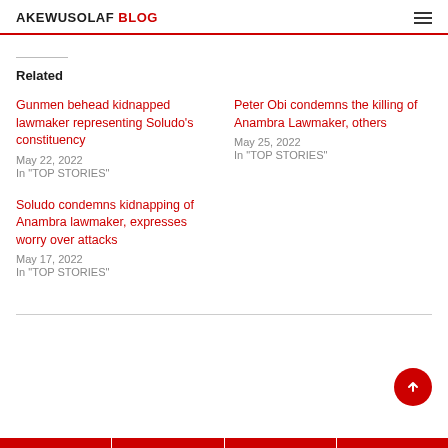AKEWUSOLAF BLOG
Related
Gunmen behead kidnapped lawmaker representing Soludo's constituency
May 22, 2022
In "TOP STORIES"
Peter Obi condemns the killing of Anambra Lawmaker, others
May 25, 2022
In "TOP STORIES"
Soludo condemns kidnapping of Anambra lawmaker, expresses worry over attacks
May 17, 2022
In "TOP STORIES"